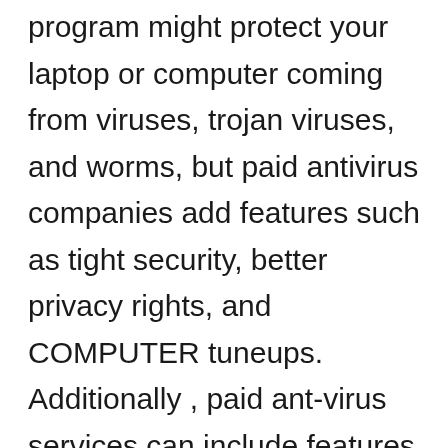program might protect your laptop or computer coming from viruses, trojan viruses, and worms, but paid antivirus companies add features such as tight security, better privacy rights, and COMPUTER tuneups. Additionally , paid ant-virus services can include features including ransomware protection and VPNs. Read on to learn the way to select a good anti virus for your computer. You can also choose from free and paid anti